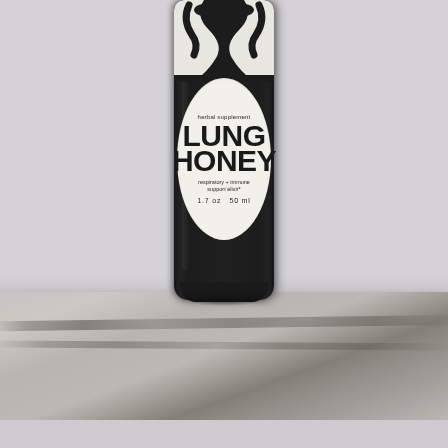[Figure (photo): Product photo of a small dark glass bottle labeled 'Lung Honey' — a herbal supplement described as 'respiratory + immune support elixir*' in 1.7 oz / 50 ml size. The bottle sits on a marble or stone slab surface against a light gray/lavender background. The bottle label is a white oval with large bold bubbly black lettering spelling LUNG HONEY, with smaller text above reading 'herbal supplement' and below reading 'respiratory + immune support elixir*' and '1.7 oz  50 ml'.]